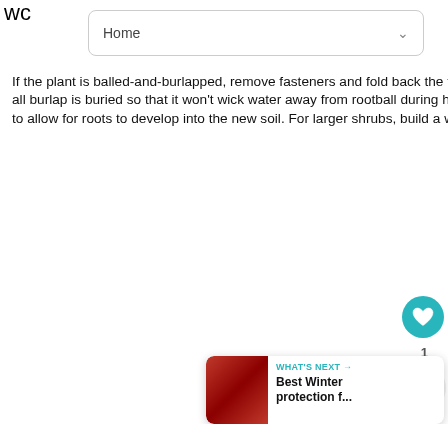wc
Home
If the plant is balled-and-burlapped, remove fasteners and fold back the top of natural burlap, tucking it down into hole, after you've positioned shrub. Make sure that all burlap is buried so that it won't wick water away from rootball during hot, dry periods. If synthetic burlap, remove if possible. If not possible, cut away or make slits to allow for roots to develop into the new soil. For larger shrubs, build a water well. Finish by mulching and watering well.
[Figure (screenshot): WHAT'S NEXT banner with image showing Best Winter protection f...]